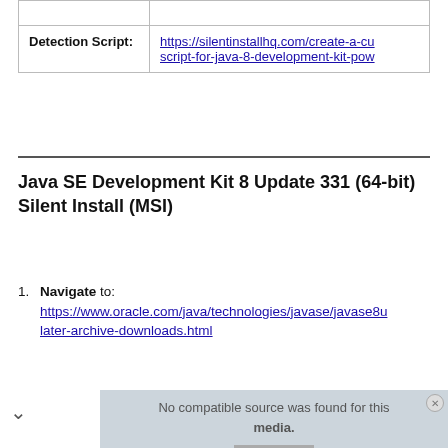|  |  |
| Detection Script: | https://silentinstallhq.com/create-a-cu script-for-java-8-development-kit-pow |
Java SE Development Kit 8 Update 331 (64-bit) Silent Install (MSI)
Navigate to: https://www.oracle.com/java/technologies/javase/javase8u later-archive-downloads.html
[Figure (screenshot): Video player overlay showing 'No compatible source was found for this media.' with CHANGE JRE & JDK text below on a grey background]